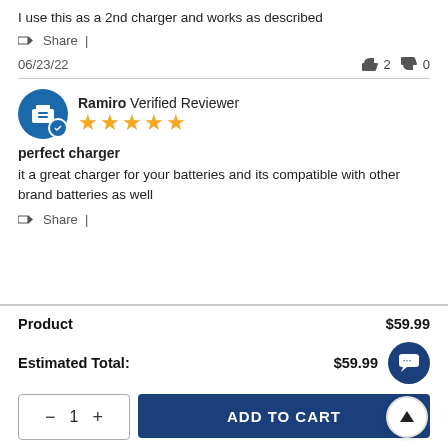I use this as a 2nd charger and works as described
Share |
06/23/22  👍 2  👎 0
Ramiro Verified Reviewer ★★★★★
perfect charger
it a great charger for your batteries and its compatible with other brand batteries as well
Share |
| Item | Price |
| --- | --- |
| Product | $59.99 |
| Estimated Total: | $59.99 |
ADD TO CART  1